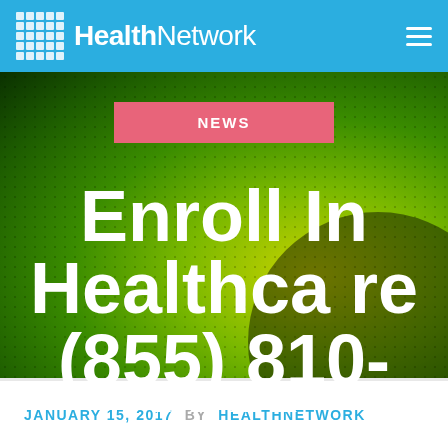HealthNetwork
NEWS
Enroll In Healthcare (855) 810-1839
JANUARY 15, 2017  BY  HEALTHNETWORK